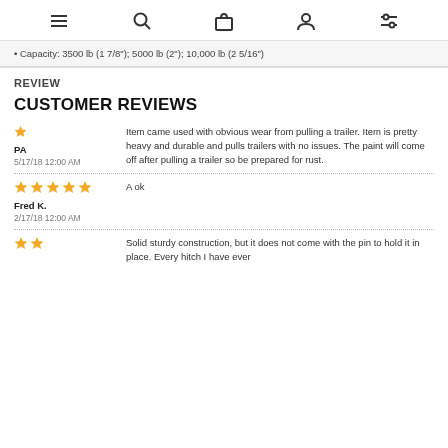[navigation icons: menu, search, bag, account, filters]
• Capacity: 3500 lb (1 7/8"), 5000 lb (2"), 10,000 lb (2 5/16")
REVIEW
CUSTOMER REVIEWS
★ PA 5/17/18 12:00 AM — Item came used with obvious wear from pulling a trailer. Item is pretty heavy and durable and pulls trailers with no issues. The paint will come off after pulling a trailer so be prepared for rust.
★★★★★ A ok — Fred K. 2/17/18 12:00 AM
★★ Solid sturdy construction, but it does not come with the pin to hold it in place. Every hitch I have ever